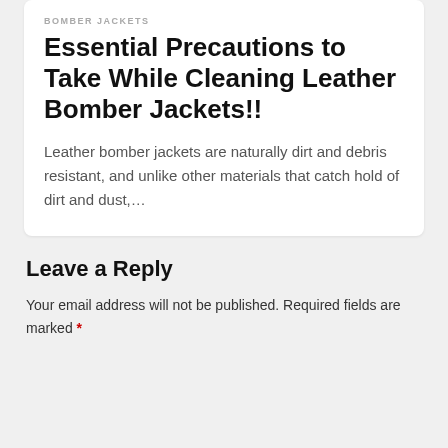BOMBER JACKETS
Essential Precautions to Take While Cleaning Leather Bomber Jackets!!
Leather bomber jackets are naturally dirt and debris resistant, and unlike other materials that catch hold of dirt and dust,…
Leave a Reply
Your email address will not be published. Required fields are marked *